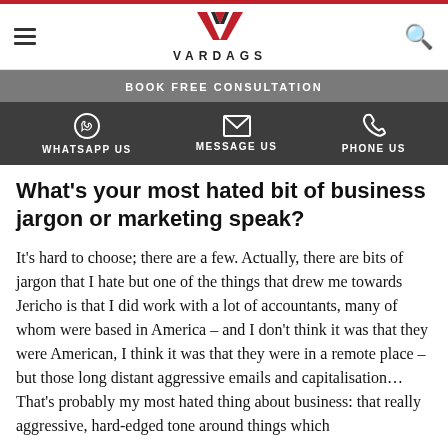VARDAGS
BOOK FREE CONSULTATION
WHATSAPP US  MESSAGE US  PHONE US
What’s your most hated bit of business jargon or marketing speak?
It’s hard to choose; there are a few. Actually, there are bits of jargon that I hate but one of the things that drew me towards Jericho is that I did work with a lot of accountants, many of whom were based in America – and I don't think it was that they were American, I think it was that they were in a remote place – but those long distant aggressive emails and capitalisation…That’s probably my most hated thing about business: that really aggressive, hard-edged tone around things which